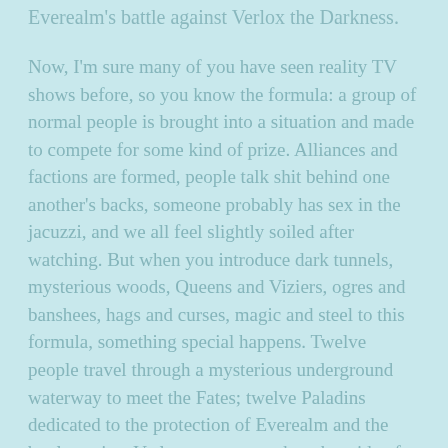Everealm's battle against Verlox the Darkness.
Now, I'm sure many of you have seen reality TV shows before, so you know the formula: a group of normal people is brought into a situation and made to compete for some kind of prize. Alliances and factions are formed, people talk shit behind one another's backs, someone probably has sex in the jacuzzi, and we all feel slightly soiled after watching. But when you introduce dark tunnels, mysterious woods, Queens and Viziers, ogres and banshees, hags and curses, magic and steel to this formula, something special happens. Twelve people travel through a mysterious underground waterway to meet the Fates; twelve Paladins dedicated to the protection of Everealm and the battle against Verlox emerge out the other side of the tunnel.